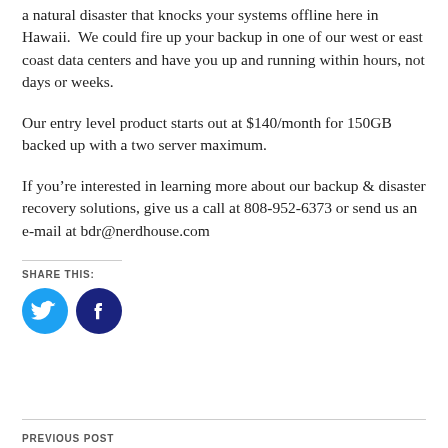a natural disaster that knocks your systems offline here in Hawaii.  We could fire up your backup in one of our west or east coast data centers and have you up and running within hours, not days or weeks.
Our entry level product starts out at $140/month for 150GB backed up with a two server maximum.
If you're interested in learning more about our backup & disaster recovery solutions, give us a call at 808-952-6373 or send us an e-mail at bdr@nerdhouse.com
SHARE THIS:
[Figure (illustration): Twitter bird icon (cyan circle) and Facebook 'f' icon (dark blue circle) side by side]
PREVIOUS POST